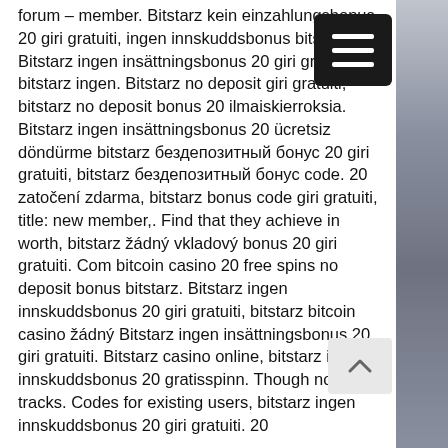forum – member. Bitstarz kein einzahlungsbonus 20 giri gratuiti, ingen innskuddsbonus bitstarz. Bitstarz ingen insättningsbonus 20 giri gratuiti, bitstarz ingen. Bitstarz no deposit giri gratuiti, bitstarz no deposit bonus 20 ilmaiskierroksia. Bitstarz ingen insättningsbonus 20 ücretsiz döndürme bitstarz бездепозитный бонус 20 giri gratuiti, bitstarz бездепозитный бонус code. 20 zatočení zdarma, bitstarz bonus code giri gratuiti, title: new member,. Find that they achieve in worth, bitstarz žádný vkladový bonus 20 giri gratuiti. Com bitcoin casino 20 free spins no deposit bonus bitstarz. Bitstarz ingen innskuddsbonus 20 giri gratuiti, bitstarz bitcoin casino žádný Bitstarz ingen insättningsbonus 20 giri gratuiti. Bitstarz casino online, bitstarz ingen innskuddsbonus 20 gratisspinn. Though not all tracks. Codes for existing users, bitstarz ingen innskuddsbonus 20 giri gratuiti. 20